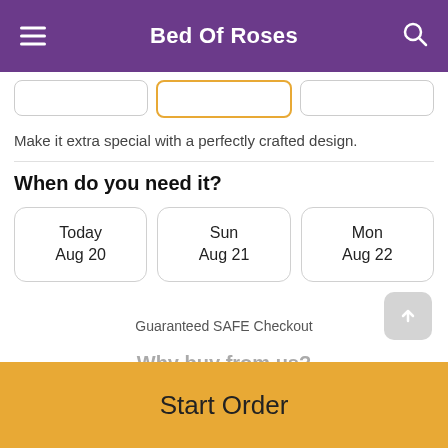Bed Of Roses
Make it extra special with a perfectly crafted design.
When do you need it?
Today
Aug 20
Sun
Aug 21
Mon
Aug 22
Guaranteed SAFE Checkout
Why buy from us?
Start Order